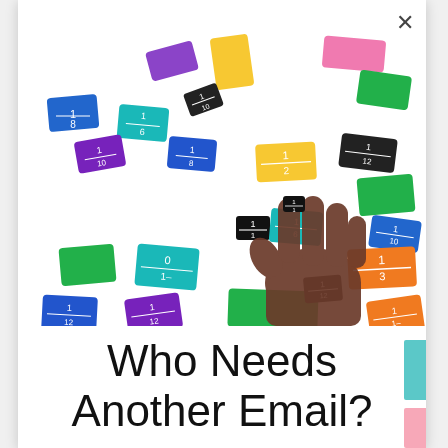about providing teachers with
[Figure (photo): A child's hand holding a small black fraction tile labeled 1/1, surrounded by many colorful fraction tiles scattered on a white surface. Tiles are in colors including yellow, green, blue, purple, teal, orange, black, and pink, each labeled with fractions like 1/2, 1/3, 1/4, 1/6, 1/8, 1/10, 1/12.]
Who Needs Another Email?